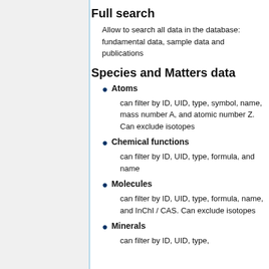Full search
Allow to search all data in the database: fundamental data, sample data and publications
Species and Matters data
Atoms
can filter by ID, UID, type, symbol, name, mass number A, and atomic number Z. Can exclude isotopes
Chemical functions
can filter by ID, UID, type, formula, and name
Molecules
can filter by ID, UID, type, formula, name, and InChI / CAS. Can exclude isotopes
Minerals
can filter by ID, UID, type,